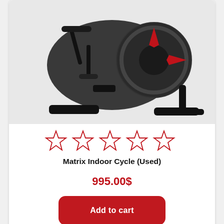[Figure (photo): Matrix Indoor Cycle exercise bike product photo, black with red accents, shown from an angle, partial crop at top]
[Figure (other): Five empty/outlined red star rating icons indicating no reviews yet]
Matrix Indoor Cycle (Used)
995.00$
Add to cart
[Figure (other): Shopping cart widget with orange badge showing 0 items]
[Figure (photo): Partial product image at bottom of page showing a tablet/screen on a stand, likely another exercise equipment listing]